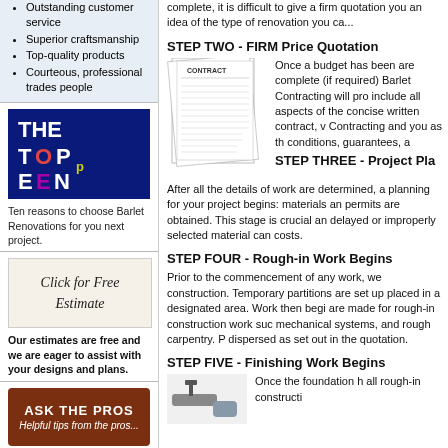Outstanding customer service
Superior craftsmanship
Top-quality products
Courteous, professional trades people
[Figure (logo): The Top Ten logo on dark blue background]
Ten reasons to choose Barlet Renovations for you next project.
[Figure (illustration): Click for Free Estimate banner with hand writing]
Our estimates are free and we are eager to assist with your designs and plans.
[Figure (illustration): Ask the Pros - Helpful tips from the pros... brown banner]
Article of interest. Find out
complete, it is difficult to give a firm quotation you an idea of the type of renovation you ca...
STEP TWO - FIRM Price Quotation
[Figure (illustration): Image of a contract document]
Once a budget has been are complete (if required) Barlet Contracting will pro include all aspects of the concise written contract, v Contracting and you as th conditions, guarantees, a
STEP THREE - Project Pla
After all the details of work are determined, a planning for your project begins: materials an permits are obtained. This stage is crucial an delayed or improperly selected material can costs.
STEP FOUR - Rough-in Work Begins
Prior to the commencement of any work, we construction. Temporary partitions are set up placed in a designated area. Work then begi are made for rough-in construction work suc mechanical systems, and rough carpentry. P dispersed as set out in the quotation.
STEP FIVE - Finishing Work Begins
[Figure (illustration): Paint roller/brush image]
Once the foundation h all rough-in constructi